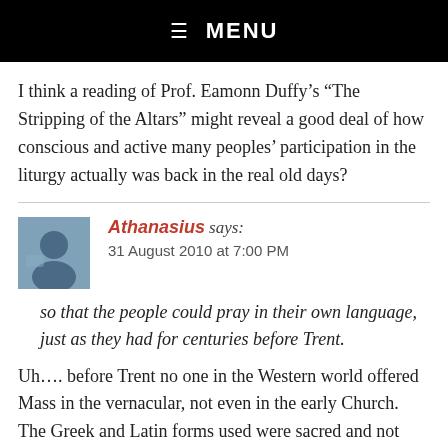☰ MENU
I think a reading of Prof. Eamonn Duffy's “The Stripping of the Altars” might reveal a good deal of how conscious and active many peoples’ participation in the liturgy actually was back in the real old days?
Athanasius says:
31 August 2010 at 7:00 PM
so that the people could pray in their own language, just as they had for centuries before Trent.
Uh…. before Trent no one in the Western world offered Mass in the vernacular, not even in the early Church. The Greek and Latin forms used were sacred and not everyday speech, and with the one exception of the Balkans nobody in Europe